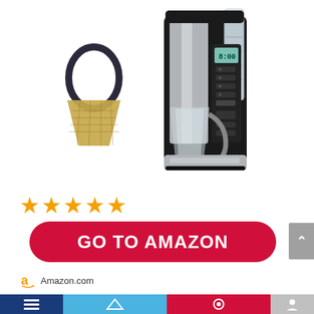[Figure (photo): A drip coffee maker with stainless steel carafe and glass pot, with a gold-tone reusable coffee filter basket shown separately to the left. The coffee maker has a digital display panel and control buttons on the right side. White background product shot.]
[Figure (infographic): Five orange/gold star rating icons in a row indicating a 5-star rating]
[Figure (infographic): A large crimson/dark red rounded rectangle button with white bold text reading GO TO AMAZON]
[Figure (logo): Amazon logo (stylized lowercase 'a' with smile arrow) followed by text Amazon.com]
[Figure (infographic): Bottom navigation bar with dark blue, light blue, red, and gray sections with white icons]
[Figure (infographic): Gray scroll-to-top button on the right edge with an upward chevron arrow]